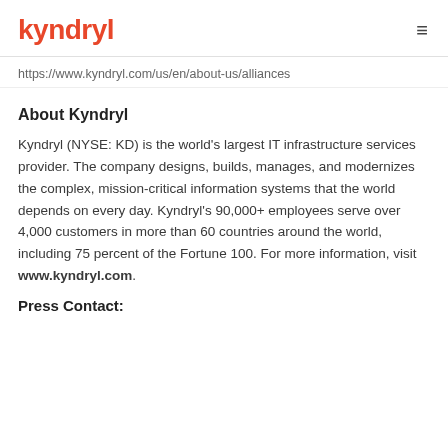kyndryl
https://www.kyndryl.com/us/en/about-us/alliances
About Kyndryl
Kyndryl (NYSE: KD) is the world's largest IT infrastructure services provider. The company designs, builds, manages, and modernizes the complex, mission-critical information systems that the world depends on every day. Kyndryl's 90,000+ employees serve over 4,000 customers in more than 60 countries around the world, including 75 percent of the Fortune 100. For more information, visit www.kyndryl.com.
Press Contact: